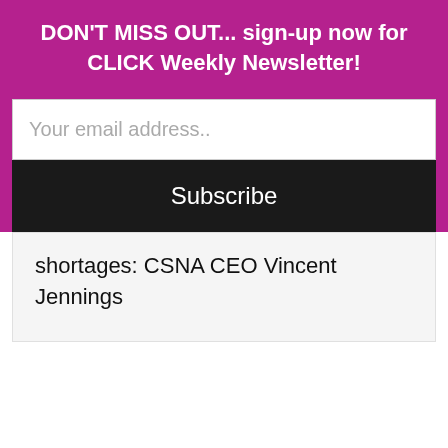DON'T MISS OUT... sign-up now for CLICK Weekly Newsletter!
Your email address..
Subscribe
shortages: CSNA CEO Vincent Jennings